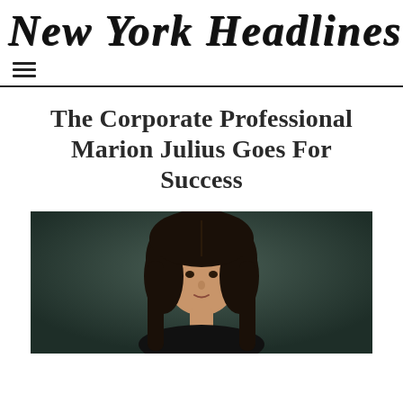New York Headlines
The Corporate Professional Marion Julius Goes For Success
[Figure (photo): Portrait photo of Marion Julius, a woman with long dark hair, photographed against a dark teal/green background, shown from shoulders up]